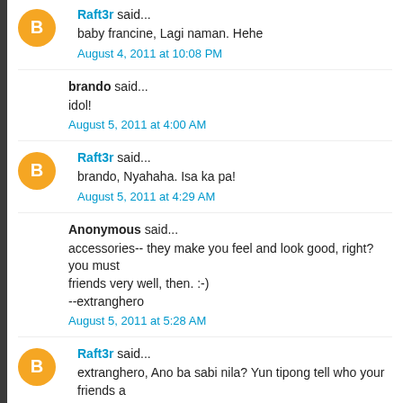Raft3r said...
baby francine, Lagi naman. Hehe
August 4, 2011 at 10:08 PM
brando said...
idol!
August 5, 2011 at 4:00 AM
Raft3r said...
brando, Nyahaha. Isa ka pa!
August 5, 2011 at 4:29 AM
Anonymous said...
accessories-- they make you feel and look good, right? you must friends very well, then. :-)
--extranghero
August 5, 2011 at 5:28 AM
Raft3r said...
extranghero, Ano ba sabi nila? Yun tipong tell who your friends a